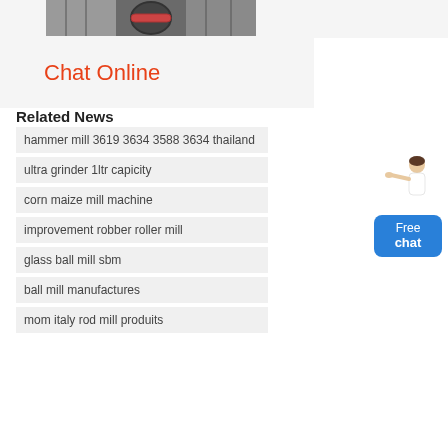[Figure (photo): Industrial machinery/mill equipment photo at top of page]
Chat Online
Related News
hammer mill 3619 3634 3588 3634 thailand
ultra grinder 1ltr capicity
corn maize mill machine
improvement robber roller mill
glass ball mill sbm
ball mill manufactures
mom italy rod mill produits
[Figure (illustration): Free chat widget with person figure and blue button labeled Free chat]